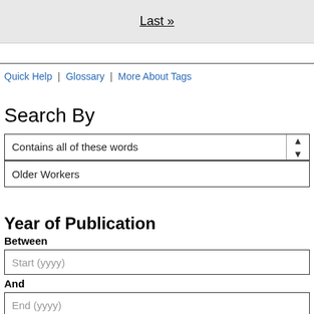Last »
Quick Help | Glossary | More About Tags
Search By
Contains all of these words
Older Workers
Year of Publication
Between
Start (yyyy)
And
End (yyyy)